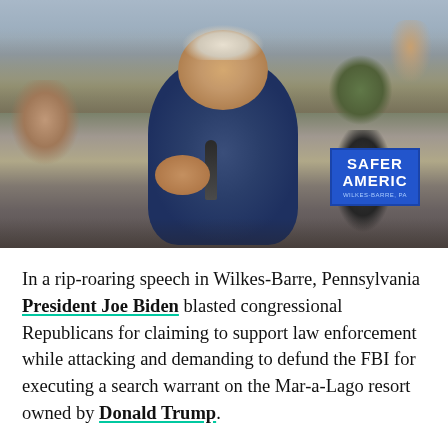[Figure (photo): President Joe Biden speaking at a rally in Wilkes-Barre, Pennsylvania, holding a microphone with crowd of supporters visible behind him, including a blue 'Safer America' sign on the right side]
In a rip-roaring speech in Wilkes-Barre, Pennsylvania President Joe Biden blasted congressional Republicans for claiming to support law enforcement while attacking and demanding to defund the FBI for executing a search warrant on the Mar-a-Lago resort owned by Donald Trump.